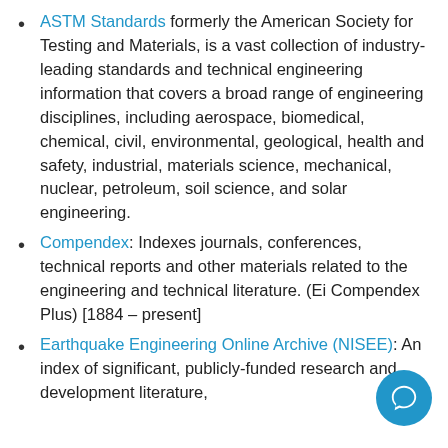ASTM Standards formerly the American Society for Testing and Materials, is a vast collection of industry-leading standards and technical engineering information that covers a broad range of engineering disciplines, including aerospace, biomedical, chemical, civil, environmental, geological, health and safety, industrial, materials science, mechanical, nuclear, petroleum, soil science, and solar engineering.
Compendex: Indexes journals, conferences, technical reports and other materials related to the engineering and technical literature. (Ei Compendex Plus) [1884 – present]
Earthquake Engineering Online Archive (NISEE): An index of significant, publicly-funded research and development literature,